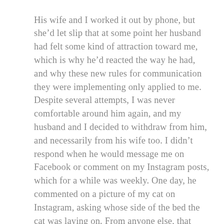His wife and I worked it out by phone, but she'd let slip that at some point her husband had felt some kind of attraction toward me, which is why he'd reacted the way he had, and why these new rules for communication they were implementing only applied to me. Despite several attempts, I was never comfortable around him again, and my husband and I decided to withdraw from him, and necessarily from his wife too. I didn't respond when he would message me on Facebook or comment on my Instagram posts, which for a while was weekly. One day, he commented on a picture of my cat on Instagram, asking whose side of the bed the cat was laying on. From anyone else, that question would have been weird, and I probably wouldn't have answered it, but from him it made me very uncomfortable.
I shared a screen shot of it with Tyler, and he also found it very weird, which confirmed that I wasn't just extra sensitive because this person was the one asking. But it was this